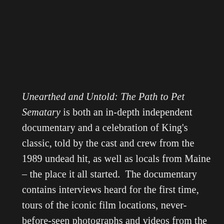Unearthed and Untold: The Path to Pet Sematary is both an in-depth independent documentary and a celebration of King's classic, told by the cast and crew from the 1989 undead hit, as well as locals from Maine – the place it all started.  The documentary contains interviews heard for the first time, tours of the iconic film locations, never-before-seen photographs and videos from the set. The interviews are with people such as director Mary Lambert, cast members Denise Crosby, Dale Midkiff, Miko